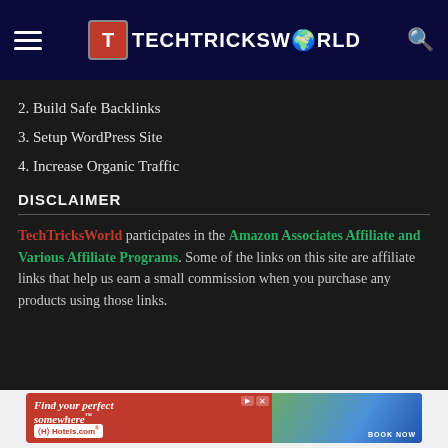TechTricksWorld
2. Build Safe Backlinks
3. Setup WordPress Site
4. Increase Organic Traffic
DISCLAIMER
TechTricksWorld participates in the Amazon Associates Affiliate and Various Affiliate Programs. Some of the links on this site are affiliate links that help us earn a small commission when you purchase any products using those links.
[Figure (other): Hotels.com advertisement banner: 'Find your perfect somewhere' with beach vacation imagery and BOOK NOW call to action]